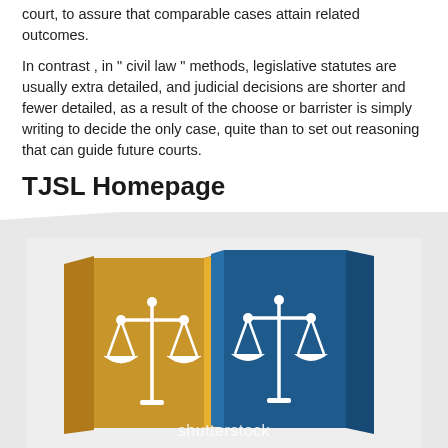court, to assure that comparable cases attain related outcomes.
In contrast , in " civil law " methods, legislative statutes are usually extra detailed, and judicial decisions are shorter and fewer detailed, as a result of the choose or barrister is simply writing to decide the only case, quite than to set out reasoning that can guide future courts.
TJSL Homepage
[Figure (illustration): Two open books side by side — one gold/amber and one dark blue — each displaying a white scales of justice icon. A Shutterstock watermark appears at the bottom of the image.]